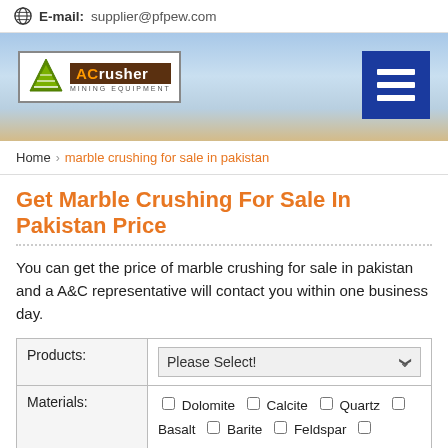E-mail:supplier@pfpew.com
[Figure (logo): ACrusher Mining Equipment logo with banner background and hamburger menu button]
Home > marble crushing for sale in pakistan
Get Marble Crushing For Sale In Pakistan Price
You can get the price of marble crushing for sale in pakistan and a A&C representative will contact you within one business day.
| Products: | Please Select! |
| --- | --- |
| Materials: | □ Dolomite □ Calcite □ Quartz □ Basalt □ Barite □ Feldspar □ Gravel □ Bentonite □ Gypsum □ Granite □ |